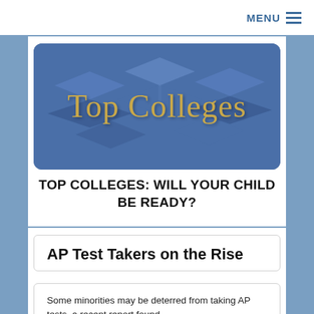MENU
[Figure (illustration): Top Colleges banner image with blue graduation caps in the background and gold serif text reading 'Top Colleges']
TOP COLLEGES: WILL YOUR CHILD BE READY?
AP Test Takers on the Rise
Some minorities may be deterred from taking AP tests, a recent report found
Daily Pennsylvanian